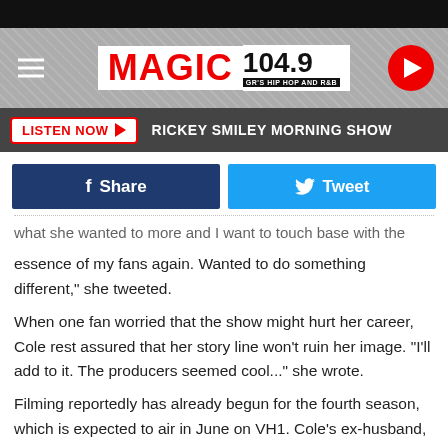[Figure (logo): Magic 104.9 radio station header banner with hamburger menu icon, MAGIC 104.9 logo in red and black, and red circular play button]
LISTEN NOW ▶  RICKEY SMILEY MORNING SHOW
[Figure (infographic): Facebook Share button (dark blue) and Twitter Tweet button (light blue)]
...what she wanted to more and I want to touch base with the essence of my fans again. Wanted to do something different," she tweeted.
When one fan worried that the show might hurt her career, Cole rest assured that her story line won't ruin her image. "I'll add to it. The producers seemed cool..." she wrote.
Filming reportedly has already begun for the fourth season, which is expected to air in June on VH1. Cole's ex-husband,